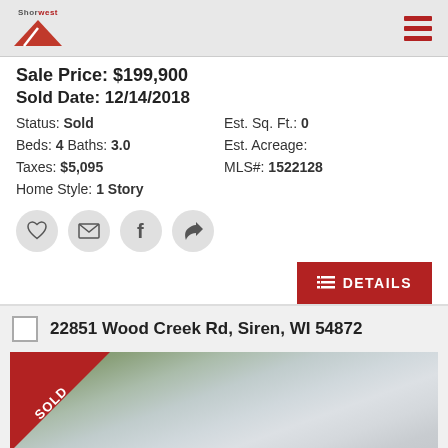Shorewest logo and navigation
Sale Price: $199,900
Sold Date: 12/14/2018
Status: Sold   Est. Sq. Ft.: 0   Beds: 4 Baths: 3.0   Est. Acreage:   Taxes: $5,095   MLS#: 1522128   Home Style: 1 Story
[Figure (other): Social action icon buttons: heart (favorite), envelope (email), Facebook, share]
DETAILS
22851 Wood Creek Rd, Siren, WI 54872
[Figure (photo): Blurred exterior property photo with SOLD ribbon in upper left corner and PHOTOS text overlay at bottom]